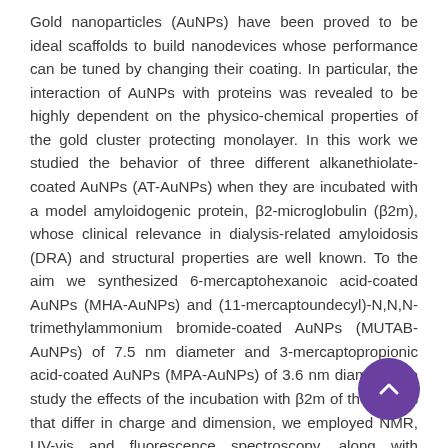Gold nanoparticles (AuNPs) have been proved to be ideal scaffolds to build nanodevices whose performance can be tuned by changing their coating. In particular, the interaction of AuNPs with proteins was revealed to be highly dependent on the physico-chemical properties of the gold cluster protecting monolayer. In this work we studied the behavior of three different alkanethiolate-coated AuNPs (AT-AuNPs) when they are incubated with a model amyloidogenic protein, β2-microglobulin (β2m), whose clinical relevance in dialysis-related amyloidosis (DRA) and structural properties are well known. To the aim we synthesized 6-mercaptohexanoic acid-coated AuNPs (MHA-AuNPs) and (11-mercaptoundecyl)-N,N,N-trimethylammonium bromide-coated AuNPs (MUTAB-AuNPs) of 7.5 nm diameter and 3-mercaptopropionic acid-coated AuNPs (MPA-AuNPs) of 3.6 nm diameter. To study the effects of the incubation with β2m of these NPs that differ in charge and dimension, we employed NMR, UV-vis and fluorescence spectroscopy, along with transmission electron microscopy (TEM). The three tested AuNP systems gave different results. We found that MHA-AuNPs precipitate with the protein into large agglomerates inducing β2m unfolding, MUTAB-AuNP precipitation is triggered by the protein that remains unchanged in solution, at